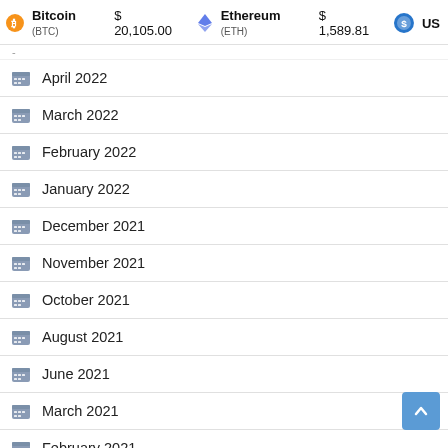Bitcoin (BTC) $20,105.00  Ethereum (ETH) $1,589.81  US...
April 2022
March 2022
February 2022
January 2022
December 2021
November 2021
October 2021
August 2021
June 2021
March 2021
February 2021